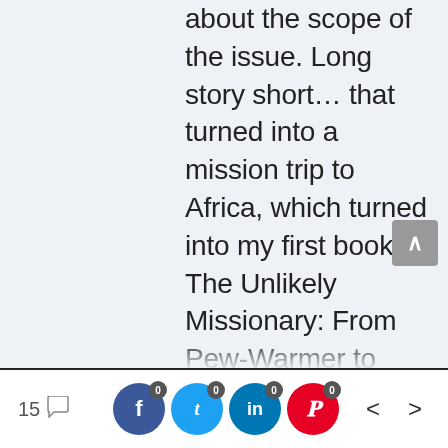about the scope of the issue. Long story short... that turned into a mission trip to Africa, which turned into my first book, The Unlikely Missionary: From Pew-Warmer to Poverty-Fighter (where I also tell this full story), which snowballed into more
15 [comments] [facebook 0] [twitter 0] [linkedin 0] [pinterest 0] [< >]